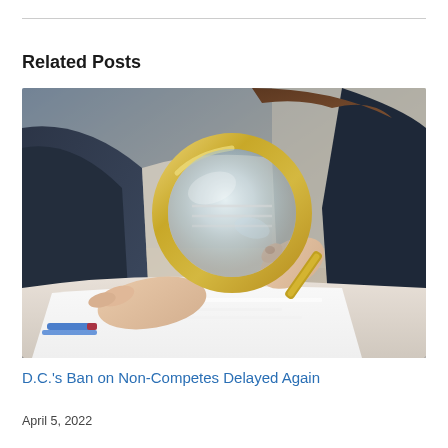Related Posts
[Figure (photo): Person in a dark blazer holding a gold magnifying glass over a white document on a desk, examining it closely.]
D.C.'s Ban on Non-Competes Delayed Again
April 5, 2022